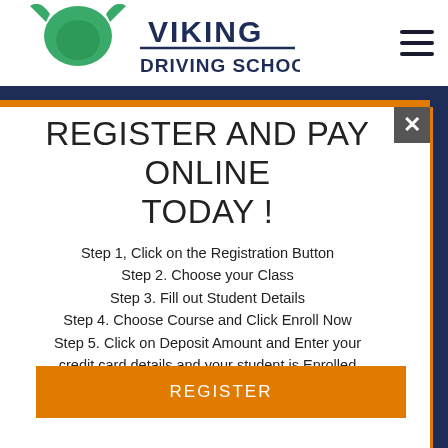[Figure (logo): Viking Driving School, Inc. logo with green viking head icon and navy blue text]
REGISTER AND PAY ONLINE TODAY !
Step 1. Click on the Registration Button
Step 2. Choose your Class
Step 3. Fill out Student Details
Step 4. Choose Course and Click Enroll Now
Step 5. Click on Deposit Amount and Enter your credit card details and your student is Enrolled Today !
REGISTER